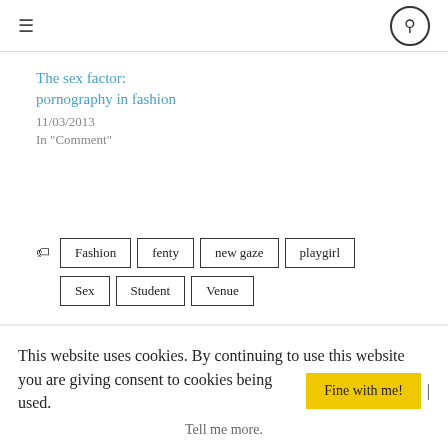≡  🔍
The sex factor: pornography in fashion
11/03/2013
In "Comment"
Fashion
fenty
new gaze
playgirl
Sex
Student
Venue
This website uses cookies. By continuing to use this website you are giving consent to cookies being used. Fine with me! |
Tell me more.